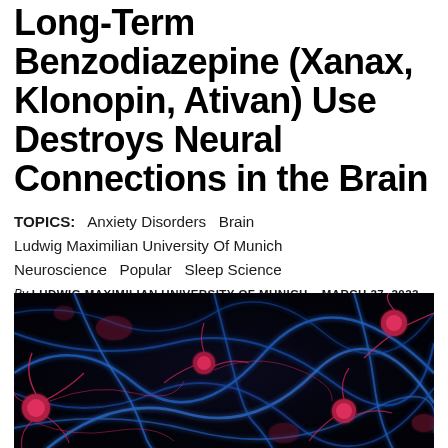Long-Term Benzodiazepine (Xanax, Klonopin, Ativan) Use Destroys Neural Connections in the Brain
TOPICS: Anxiety Disorders  Brain  Ludwig Maximilian University Of Munich  Neuroscience  Popular  Sleep Science
By LUDWIG MAXIMILIAN UNIVERSITY OF MUNICH    MARCH 27, 2022
[Figure (photo): Fluorescence microscopy image of neurons showing pink/magenta cell bodies with pink dendritic branches and blue axonal connections on a dark background.]